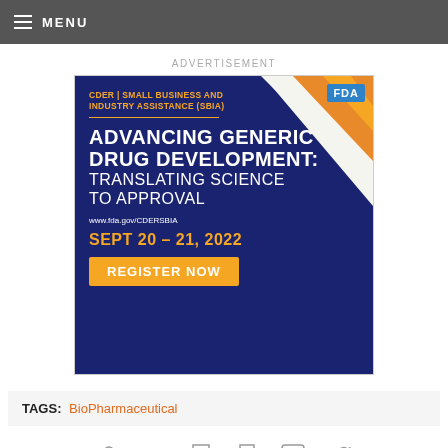MENU
ADVERTISEMENT
[Figure (infographic): FDA CDER Small Business and Industry Assistance (SBIA) advertisement. Title: ADVANCING GENERIC DRUG DEVELOPMENT: TRANSLATING SCIENCE TO APPROVAL. URL: www.fda.gov/CDERSBIA. Date: SEPT 20 - 21, 2022. Button: REGISTER NOW. Dark navy blue background with orange and white diagonal corner decoration and FDA badge.]
TAGS: BioPharmaceutical